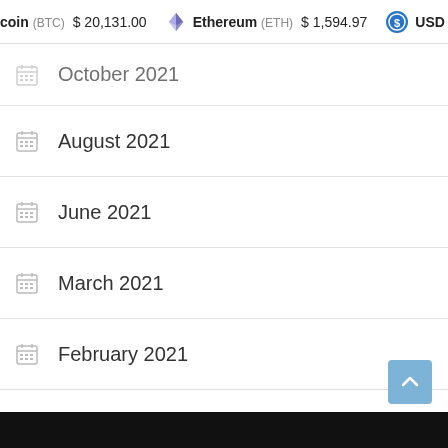coin (BTC) $20,131.00   Ethereum (ETH) $1,594.97   USD C
October 2021
August 2021
June 2021
March 2021
February 2021
January 2021
December 2020
June 2018
December 2017